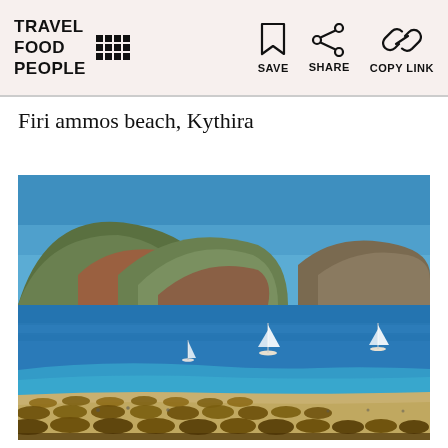TRAVEL FOOD PEOPLE | SAVE | SHARE | COPY LINK
Firi ammos beach, Kythira
[Figure (photo): Aerial view of Firi Ammos beach in Kythira, Greece. A sheltered bay with vivid blue water, a sandy beach lined with straw umbrellas in the foreground, two green rocky hills on the left meeting the sea, and a rocky headland on the right. Several sailboats are anchored in the calm bay. Clear blue sky above.]